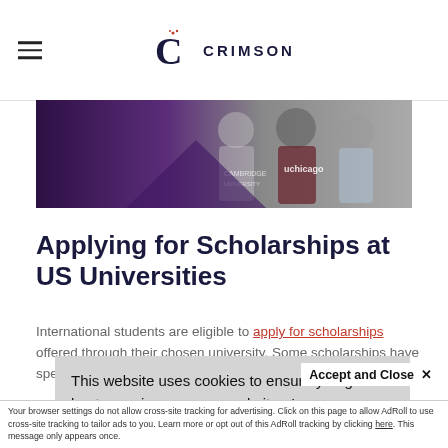Crimson Education
[Figure (photo): Students wearing university branded clothing including Cambridge and Chicago sweatshirts, with a purple/dark gradient overlay on the left side]
Applying for Scholarships at US Universities
International students are eligible to apply for scholarships offered through their chosen university. Some scholarships have specific requirements, so it's im[portant to] de[termine which] un[iversity]...
This website uses cookies to ensure you get the best experience on our website. Learn more
Accept and Close ✕
Your browser settings do not allow cross-site tracking for advertising. Click on this page to allow AdRoll to use cross-site tracking to tailor ads to you. Learn more or opt out of this AdRoll tracking by clicking here. This message only appears once.